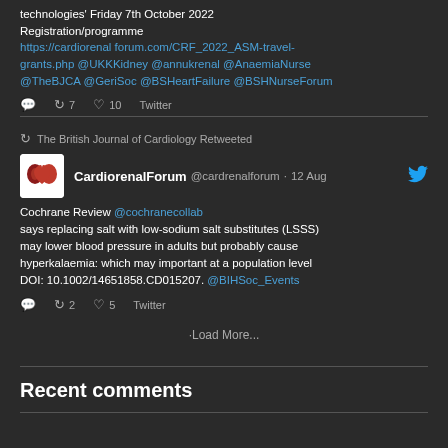technologies' Friday 7th October 2022 Registration/programme https://cardiorenal forum.com/CRF_2022_ASM-travel-grants.php @UKKKidney @annukrenal @AnaemiaNurse @TheBJCA @GeriSoc @BSHeartFailure @BSHNurseForum
Reply 7 Retweet 10 Like Twitter
The British Journal of Cardiology Retweeted
CardiorenalForum @cardrenalforum · 12 Aug
Cochrane Review @cochranecollab says replacing salt with low-sodium salt substitutes (LSSS) may lower blood pressure in adults but probably cause hyperkalaemia: which may important at a population level DOI: 10.1002/14651858.CD015207. @BIHSoc_Events
Reply 2 Retweet 5 Like Twitter
Load More...
Recent comments